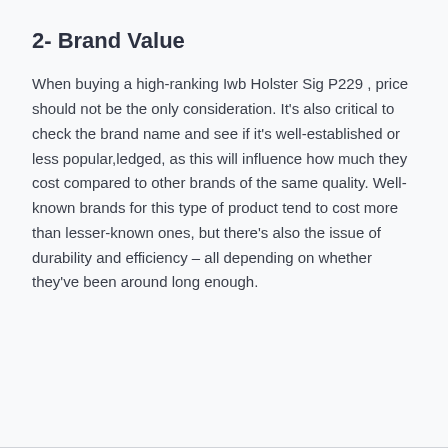2- Brand Value
When buying a high-ranking Iwb Holster Sig P229 , price should not be the only consideration. It's also critical to check the brand name and see if it's well-established or less popular,ledged, as this will influence how much they cost compared to other brands of the same quality. Well-known brands for this type of product tend to cost more than lesser-known ones, but there's also the issue of durability and efficiency – all depending on whether they've been around long enough.